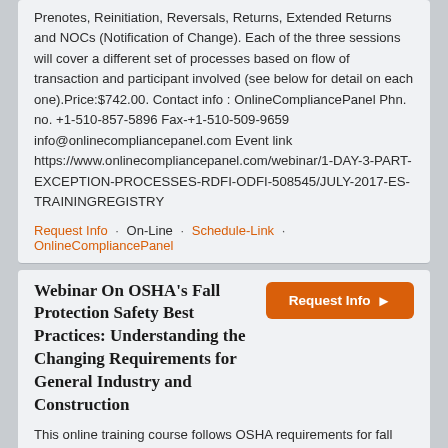Prenotes, Reinitiation, Reversals, Returns, Extended Returns and NOCs (Notification of Change). Each of the three sessions will cover a different set of processes based on flow of transaction and participant involved (see below for detail on each one).Price:$742.00. Contact info : OnlineCompliancePanel Phn. no. +1-510-857-5896 Fax-+1-510-509-9659 info@onlinecompliancepanel.com Event link https://www.onlinecompliancepanel.com/webinar/1-DAY-3-PART-EXCEPTION-PROCESSES-RDFI-ODFI-508545/JULY-2017-ES-TRAININGREGISTRY
Request Info · On-Line · Schedule-Link · OnlineCompliancePanel
Webinar On OSHA's Fall Protection Safety Best Practices: Understanding the Changing Requirements for General Industry and Construction
This online training course follows OSHA requirements for fall protection training for the construction worker who might be exposed to fall hazards. This program enables the employee to recognize the hazards of falling, and trains them in the procedures to be followed to minimize these hazards. With falls from heights being the leading cause of